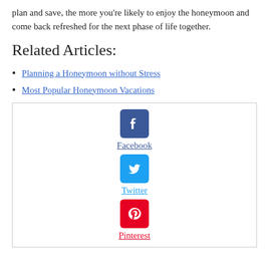plan and save, the more you’re likely to enjoy the honeymoon and come back refreshed for the next phase of life together.
Related Articles:
Planning a Honeymoon without Stress
Most Popular Honeymoon Vacations
[Figure (infographic): Social sharing box with Facebook, Twitter, and Pinterest icons and links]
Facebook
Twitter
Pinterest